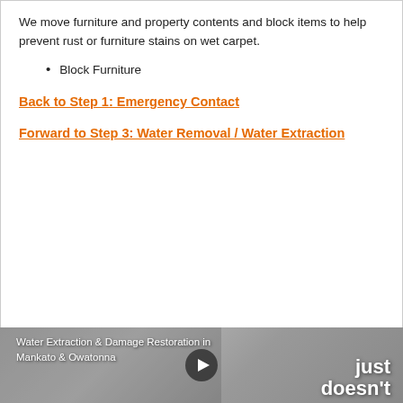We move furniture and property contents and block items to help prevent rust or furniture stains on wet carpet.
Block Furniture
Back to Step 1: Emergency Contact
Forward to Step 3: Water Removal / Water Extraction
OUR [VIDEOS]
[Figure (screenshot): Video thumbnail showing water extraction and damage restoration work with play button overlay. Text reads: Water Extraction & Damage Restoration in Mankato & Owatonna. Right side text: just doesn't]